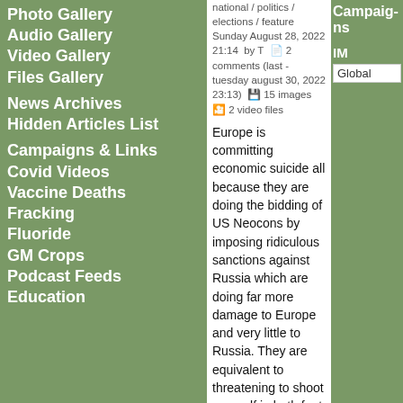Photo Gallery
Audio Gallery
Video Gallery
Files Gallery
News Archives
Hidden Articles List
Campaigns & Links
Covid Videos
Vaccine Deaths
Fracking
Fluoride
GM Crops
Podcast Feeds
Education
national / politics / elections / feature  Sunday August 28, 2022 21:14  by T  2 comments (last - tuesday august 30, 2022 23:13)  15 images  2 video files
Europe is committing economic suicide all because they are doing the bidding of US Neocons by imposing ridiculous sanctions against Russia which are doing far more damage to Europe and very little to Russia. They are equivalent to threatening to shoot yourself in both feet and the head and then going ahead and doing it. It is a completely idiotic and absurd situation that Europe has arrived in. We are already seeing the initial consequences in the form of fuel price rises and inflation.
The sanctions have actually done three things. They have strengthened Russia's finances and independence, they have accelerated the destruction of the dollar and all fiat currencies connected to it and they are dealing an economc death blow to Europe's economy. By refusing Russian gas it has led to soaring prices and there is no viable alternative to replace the huge quantities of it. Gas is not just used for heating but also for generating base load electrical power. And Russian oil is used to supply a large chunk of the diesel fuel used in Europe and its allied with b...
Campaig...
IM
Global